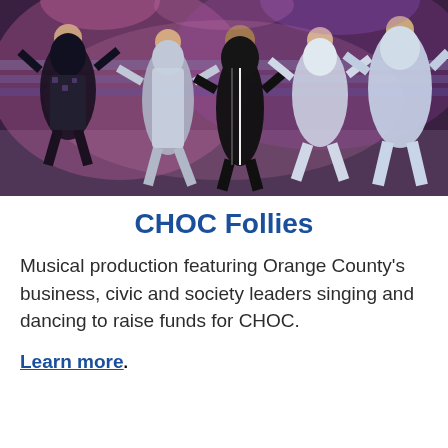[Figure (photo): A group of performers on stage in colorful costumes including sequined and sparkly outfits, dancing and posing in what appears to be a musical production. Warm stage lighting with purple/pink hues.]
CHOC Follies
Musical production featuring Orange County's business, civic and society leaders singing and dancing to raise funds for CHOC.
Learn more.